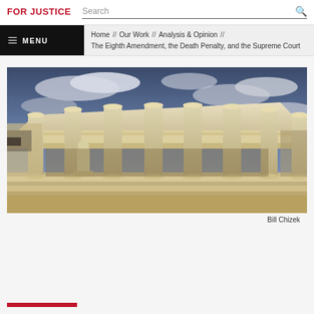FOR JUSTICE — Search
Home / Our Work / Analysis & Opinion / The Eighth Amendment, the Death Penalty, and the Supreme Court
[Figure (photo): Photograph of the United States Supreme Court building facade, showing Corinthian columns, a seated statue, and a dramatic cloudy sky]
Bill Chizek